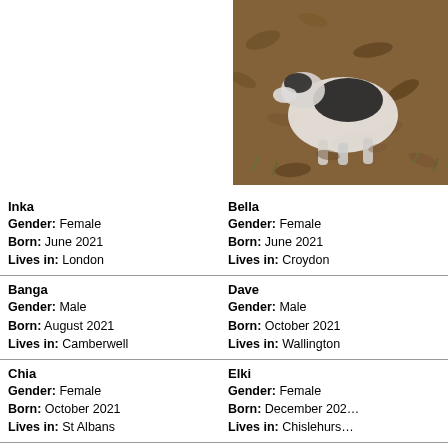[Figure (photo): Photo of a black and white dog lying on a ground covered with dried leaves]
Inka
Gender: Female
Born: June 2021
Lives in: London
Bella
Gender: Female
Born: June 2021
Lives in: Croydon
Banga
Gender: Male
Born: August 2021
Lives in: Camberwell
Dave
Gender: Male
Born: October 2021
Lives in: Wallington
Chia
Gender: Female
Born: October 2021
Lives in: St Albans
Elki
Gender: Female
Born: December 202...
Lives in: Chislehurs...
Casper